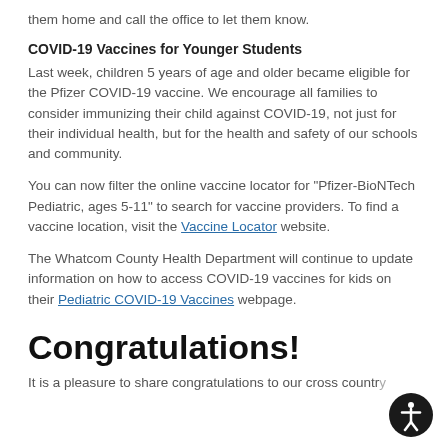them home and call the office to let them know.
COVID-19 Vaccines for Younger Students
Last week, children 5 years of age and older became eligible for the Pfizer COVID-19 vaccine. We encourage all families to consider immunizing their child against COVID-19, not just for their individual health, but for the health and safety of our schools and community.
You can now filter the online vaccine locator for "Pfizer-BioNTech Pediatric, ages 5-11" to search for vaccine providers. To find a vaccine location, visit the Vaccine Locator website.
The Whatcom County Health Department will continue to update information on how to access COVID-19 vaccines for kids on their Pediatric COVID-19 Vaccines webpage.
Congratulations!
It is a pleasure to share congratulations to our cross country